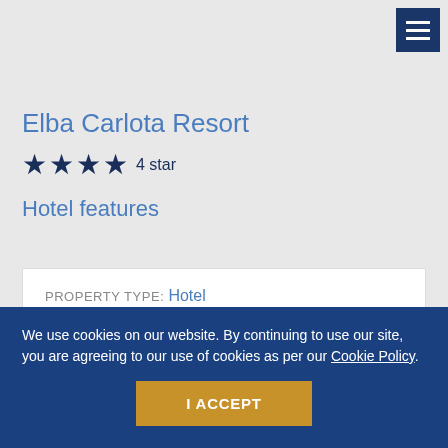[Figure (other): Navigation menu hamburger icon button in dark navy blue]
Elba Carlota Resort
★★★★ 4 star
Hotel features
PROPERTY TYPE: Hotel
We use cookies on our website. By continuing to use our site, you are agreeing to our use of cookies as per our Cookie Policy.
I ACCEPT